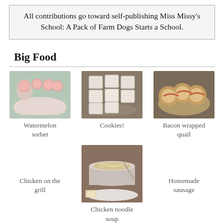All contributions go toward self-publishing Miss Missy's School: A Pack of Farm Dogs Starts a School.
Big Food
[Figure (photo): Watermelon sorbet in martini glasses on a pink plate]
Watermelon sorbet
[Figure (photo): White frosted square cookies on a plate]
Cookies!
[Figure (photo): Bacon wrapped quail in a foil pan]
Bacon wrapped quail
Chicken on the grill
[Figure (photo): Bowl of chicken noodle soup on a saucer with crackers]
Chicken noodle soup
Homemade sausage